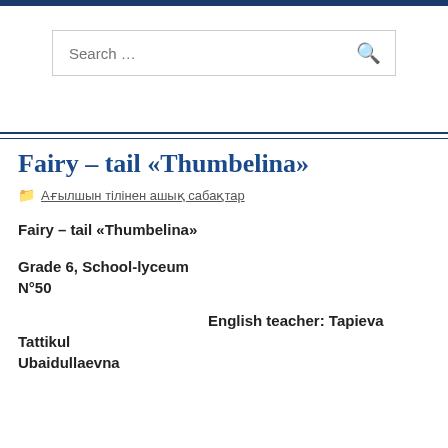[Figure (screenshot): Search input box with placeholder text 'Search ...' and a search magnifying glass icon on the right]
Fairy – tail «Thumbelina»
Ағылшын тілінен ашық сабақтар
Fairy – tail «Thumbelina»
Grade 6, School-lyceum N°50
English teacher: Tapieva Tattikul Ubaidullaevna